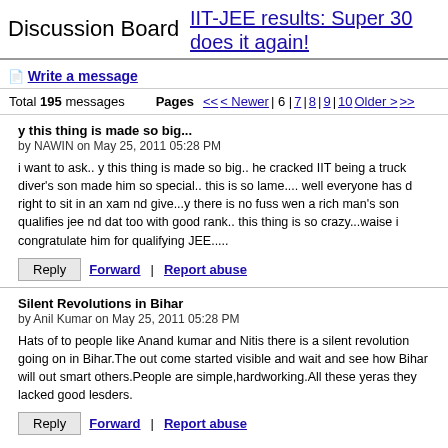Discussion Board
IIT-JEE results: Super 30 does it again!
Write a message
Total 195 messages   Pages  << < Newer | 6 | 7 | 8 | 9 | 10  Older >  >>
y this thing is made so big...
by NAWIN on May 25, 2011 05:28 PM
i want to ask.. y this thing is made so big.. he cracked IIT being a truck diver's son made him so special.. this is so lame.... well everyone has d right to sit in an xam nd give...y there is no fuss wen a rich man's son qualifies jee nd dat too with good rank.. this thing is so crazy...waise i congratulate him for qualifying JEE.....
Reply | Forward | Report abuse
Silent Revolutions in Bihar
by Anil Kumar on May 25, 2011 05:28 PM
Hats of to people like Anand kumar and Nitis there is a silent revolution going on in Bihar.The out come started visible and wait and see how Bihar will out smart others.People are simple,hardworking.All these yeras they lacked good lesders.
Reply | Forward | Report abuse